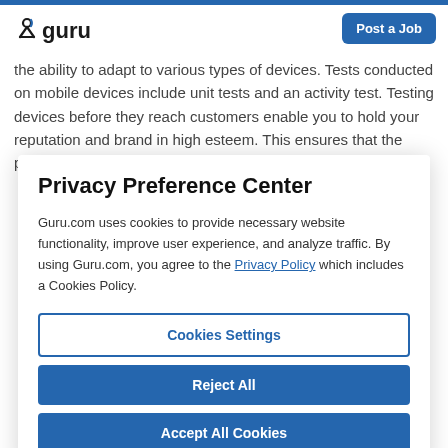guru | Post a Job
the ability to adapt to various types of devices. Tests conducted on mobile devices include unit tests and an activity test. Testing devices before they reach customers enable you to hold your reputation and brand in high esteem. This ensures that the products that you are
Privacy Preference Center
Guru.com uses cookies to provide necessary website functionality, improve user experience, and analyze traffic. By using Guru.com, you agree to the Privacy Policy which includes a Cookies Policy.
Cookies Settings
Reject All
Accept All Cookies